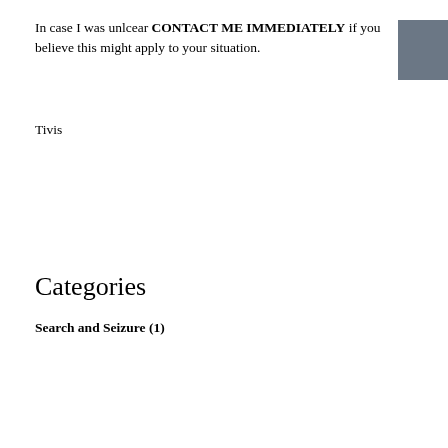In case I was unlcear CONTACT ME IMMEDIATELY if you believe this might apply to your situation.
[Figure (other): Gray rectangular box in upper right corner]
Tivis
Categories
Search and Seizure (1)